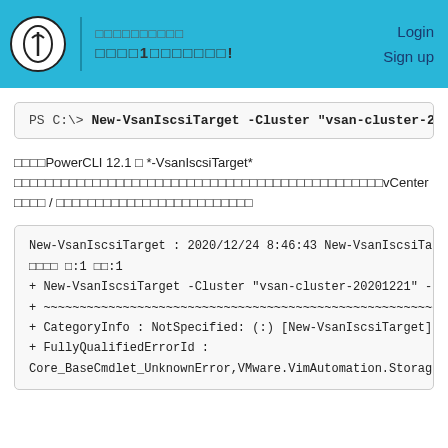Login  Sign up
PS C:\> New-VsanIscsiTarget -Cluster "vsan-cluster-20201222...
PowerCLI 12.1 の *-VsanIscsiTarget* コマンドレットはすべてvCenter サーバ / のアップグレードに対応しています
New-VsanIscsiTarget : 2020/12/24 8:46:43 New-VsanIscsiTarget 1
行 0:1 列:1
+ New-VsanIscsiTarget -Cluster "vsan-cluster-20201221" -Name "vi...
+ ~~~~~~~~~~~~~~~~~~~~~~~~~~~~~~~~~~~~~~~~~~~~~~~~~~~
+ CategoryInfo : NotSpecified: (:) [New-VsanIscsiTarget], VimExcep...
+ FullyQualifiedErrorId :
Core_BaseCmdlet_UnknownError,VMware.VimAutomation.Storage...